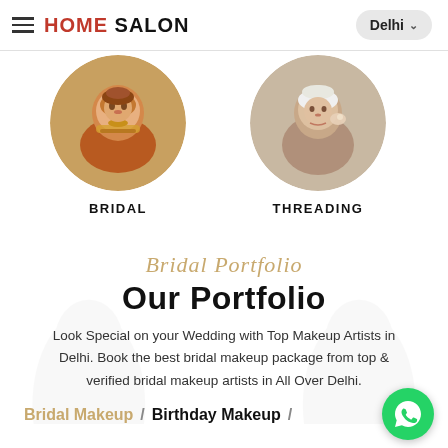HOME SALON | Delhi
[Figure (photo): Circular image of a bridal woman in traditional Indian attire with jewelry]
BRIDAL
[Figure (photo): Circular image of a person getting threading beauty treatment]
THREADING
Bridal Portfolio
Our Portfolio
Look Special on your Wedding with Top Makeup Artists in Delhi. Book the best bridal makeup package from top & verified bridal makeup artists in All Over Delhi.
Bridal Makeup / Birthday Makeup /